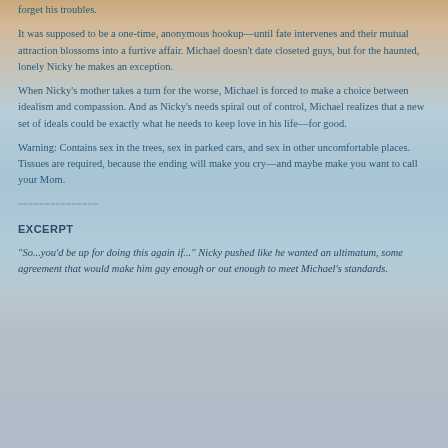forget his troubles.
It was supposed to be a one-time, anonymous hookup—until fate intervenes and their mutual attraction blossoms into a furtive affair. Michael doesn't date closeted guys, but for the haunted, lonely Nicky he makes an exception.
When Nicky's mother takes a turn for the worse, Michael is forced to make a choice between idealism and compassion. And as Nicky's needs spiral out of control, Michael realizes that a new set of ideals could be exactly what he needs to keep love in his life—for good.
Warning: Contains sex in the trees, sex in parked cars, and sex in other uncomfortable places. Tissues are required, because the ending will make you cry—and maybe make you want to call your Mom.
~~~~~~~~~~~~~~~
EXCERPT
"So...you'd be up for doing this again if..." Nicky pushed like he wanted an ultimatum, some agreement that would make him gay enough or out enough to meet Michael's standards.